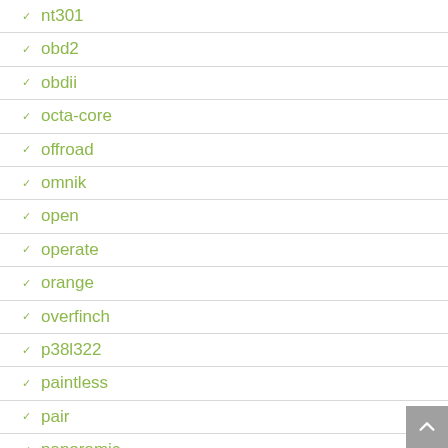nt301
obd2
obdii
octa-core
offroad
omnik
open
operate
orange
overfinch
p38l322
paintless
pair
panoramic